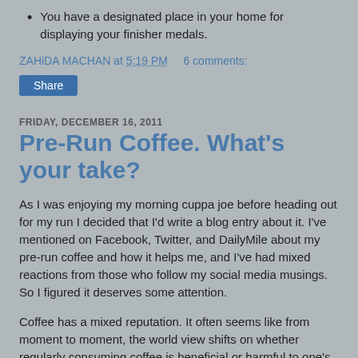You have a designated place in your home for displaying your finisher medals.
ZAHiDA MACHAN at 5:19 PM    6 comments:
Share
FRIDAY, DECEMBER 16, 2011
Pre-Run Coffee. What's your take?
As I was enjoying my morning cuppa joe before heading out for my run I decided that I'd write a blog entry about it. I've mentioned on Facebook, Twitter, and DailyMile about my pre-run coffee and how it helps me, and I've had mixed reactions from those who follow my social media musings. So I figured it deserves some attention.
Coffee has a mixed reputation. It often seems like from moment to moment, the world view shifts on whether regularly consuming coffee is beneficial or harmful to one's health. I believe that with just about anything that is beneficial, it's only if it's consumed in moderation. When one goes